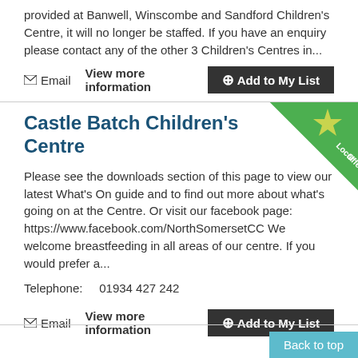provided at Banwell, Winscombe and Sandford Children's Centre, it will no longer be staffed. If you have an enquiry please contact any of the other 3 Children's Centres in...
✉ Email   View more information   ➕Add to My List
Castle Batch Children's Centre
Please see the downloads section of this page to view our latest What's On guide and to find out more about what's going on at the Centre. Or visit our facebook page: https://www.facebook.com/NorthSomersetCC We welcome breastfeeding in all areas of our centre. If you would prefer a...
Telephone:    01934 427 242
✉ Email   View more information   ➕Add to My List
Back to top